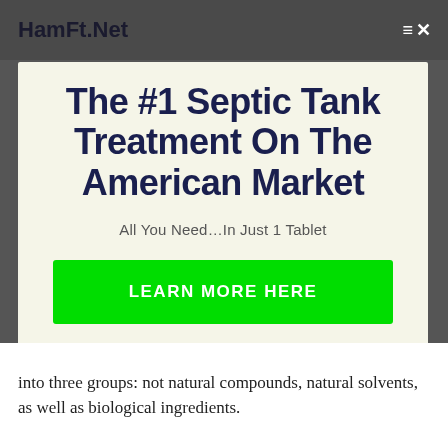HamFt.Net
The #1 Septic Tank Treatment On The American Market
All You Need…In Just 1 Tablet
LEARN MORE HERE
No thanks, I'm not interested!
into three groups: not natural compounds, natural solvents, as well as biological ingredients.